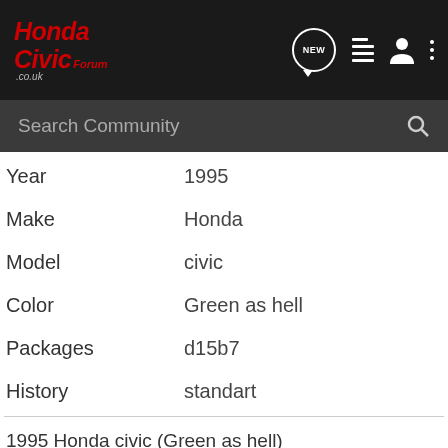Honda Civic Forum .co.uk
Year: 1995
Make: Honda
Model: civic
Color: Green as hell
Packages: d15b7
History: standart
1995 Honda civic (Green as hell)
Modifications